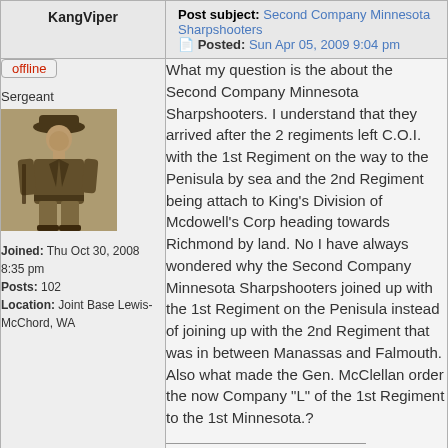KangViper | Post subject: Second Company Minnesota Sharpshooters | Posted: Sun Apr 05, 2009 9:04 pm
offline
Sergeant
[Figure (photo): Sepia-toned photograph of a Civil War soldier standing in uniform with hat]
Joined: Thu Oct 30, 2008 8:35 pm
Posts: 102
Location: Joint Base Lewis-McChord, WA
What my question is the about the Second Company Minnesota Sharpshooters. I understand that they arrived after the 2 regiments left C.O.I. with the 1st Regiment on the way to the Penisula by sea and the 2nd Regiment being attach to King's Division of Mcdowell's Corp heading towards Richmond by land. No I have always wondered why the Second Company Minnesota Sharpshooters joined up with the 1st Regiment on the Penisula instead of joining up with the 2nd Regiment that was in between Manassas and Falmouth. Also what made the Gen. McClellan order the now Company "L" of the 1st Regiment to the 1st Minnesota.?
Joseph Edwards
The Deadeye Mess